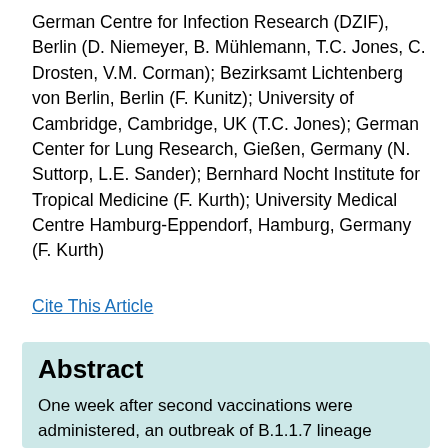German Centre for Infection Research (DZIF), Berlin (D. Niemeyer, B. Mühlemann, T.C. Jones, C. Drosten, V.M. Corman); Bezirksamt Lichtenberg von Berlin, Berlin (F. Kunitz); University of Cambridge, Cambridge, UK (T.C. Jones); German Center for Lung Research, Gießen, Germany (N. Suttorp, L.E. Sander); Bernhard Nocht Institute for Tropical Medicine (F. Kurth); University Medical Centre Hamburg-Eppendorf, Hamburg, Germany (F. Kurth)
Cite This Article
Abstract
One week after second vaccinations were administered, an outbreak of B.1.1.7 lineage severe acute respiratory syndrome coronavirus 2 infections occurred in a long-term care facility in Berlin, Germany, affecting 16/20 vaccinated and